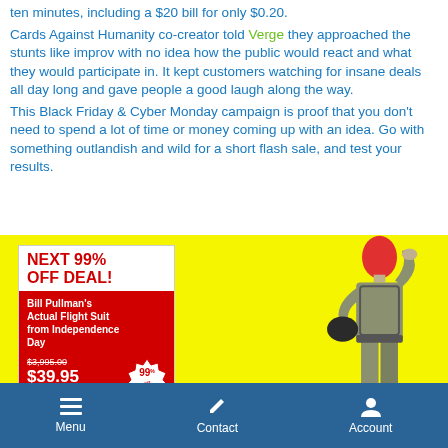ten minutes, including a $20 bill for only $0.20. Cards Against Humanity co-creator told Verge they approached the stunts like improv with no idea how the public would react and what they would participate in. It kept customers watching for insane deals all day long and gave people a good laugh along the way. This Black Friday & Cyber Monday campaign is proof that you don't need to spend a lot of time or money coming up with an idea. Go with something outlandish and wild for a short flash sale, and test your results.
[Figure (photo): Yellow promotional card showing 'NEXT 99% OFF DEAL! Bill Pullman's Actual Flight Suit from Independence Day' priced at $3,995.00 down to $39.95 with 99% off badge, next to a person in a flight suit with a red mask saluting]
Menu   Contact   Account